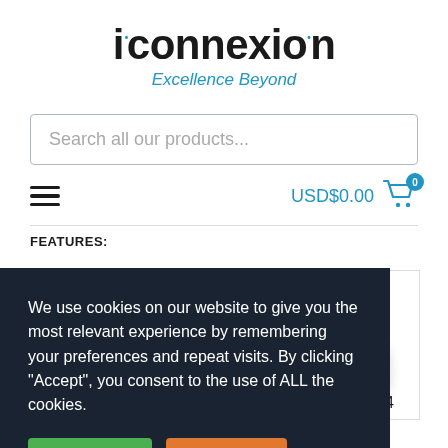[Figure (logo): iconnexion logo with dots over i and n, tagline 'Excellence Beyond' in blue italic]
Search all our products...
USD$0.00
FEATURES:
We use cookies on our website to give you the most relevant experience by remembering your preferences and repeat visits. By clicking “Accept”, you consent to the use of ALL the cookies.
ACCEPT
REJECT
0L94
Contact us
LATCHES: